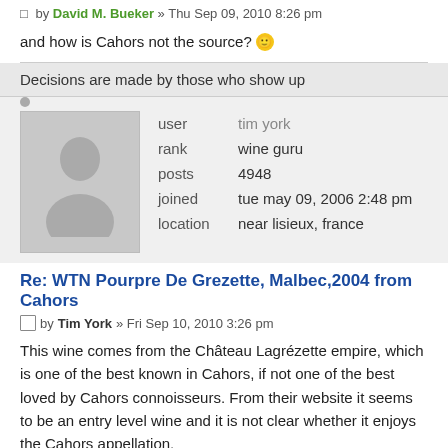by David M. Bueker » Thu Sep 09, 2010 8:26 pm
and how is Cahors not the source? 😊
Decisions are made by those who show up
| field | value |
| --- | --- |
| user | tim york |
| rank | wine guru |
| posts | 4948 |
| joined | tue may 09, 2006 2:48 pm |
| location | near lisieux, france |
Re: WTN Pourpre De Grezette, Malbec,2004 from Cahors
by Tim York » Fri Sep 10, 2010 3:26 pm
This wine comes from the Château Lagrézette empire, which is one of the best known in Cahors, if not one of the best loved by Cahors connoisseurs. From their website it seems to be an entry level wine and it is not clear whether it enjoys the Cahors appellation.
Lagrézette is undoubtedly a technically skilled producer (Michel